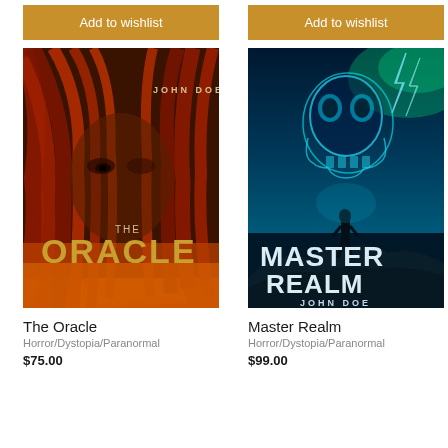Add to wishlist
Add to wishlist
[Figure (illustration): Book cover for 'The Oracle' by John Doe — dark horror cover showing a woman's face obscured by long fiery red hair, with flames at the bottom and bold golden text reading THE ORACLE]
[Figure (illustration): Book cover for 'Master Realm' by John Doe — dark fantasy/sci-fi cover with a glowing skull in a stormy blue sky with lightning, a silhouetted figure standing on rocks below, and the title MASTER REALM in large white letters]
The Oracle
Horror/Dystopia/Paranormal
$75.00
Master Realm
Horror/Dystopia/Paranormal
$99.00